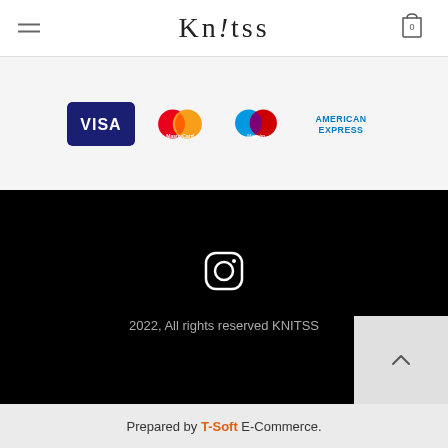Knitss — navigation header with hamburger menu and cart icon
[Figure (logo): Payment method logos: VISA, MasterCard, Maestro, American Express]
[Figure (logo): Instagram icon (white on black background)]
2022, All rights reserved KNITSS
Prepared by T-Soft E-Commerce.